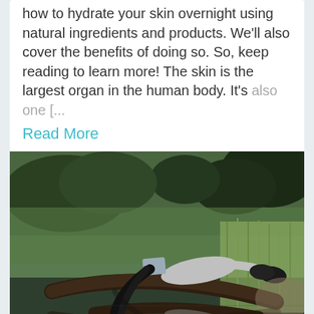how to hydrate your skin overnight using natural ingredients and products. We'll also cover the benefits of doing so. So, keep reading to learn more! The skin is the largest organ in the human body. It's also one [...
Read More
[Figure (photo): A person lying draped over a fallen tree trunk over a reflective pond in a lush green forest setting, with their face covered by a book and wearing black boots. The scene is reflected in the still dark water below.]
Share   Report